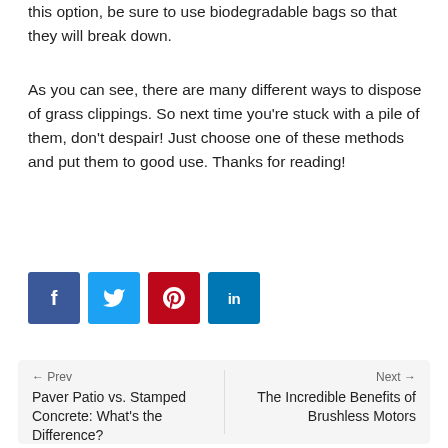this option, be sure to use biodegradable bags so that they will break down.
As you can see, there are many different ways to dispose of grass clippings. So next time you're stuck with a pile of them, don't despair! Just choose one of these methods and put them to good use. Thanks for reading!
[Figure (other): Social media share buttons: Facebook (dark blue), Twitter (light blue), Pinterest (red), LinkedIn (blue)]
← Prev  Paver Patio vs. Stamped Concrete: What's the Difference?  |  Next →  The Incredible Benefits of Brushless Motors